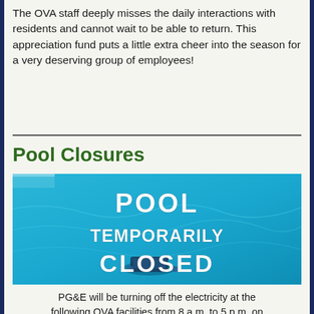The OVA staff deeply misses the daily interactions with residents and cannot wait to be able to return. This appreciation fund puts a little extra cheer into the season for a very deserving group of employees!
Pool Closures
[Figure (photo): Sign reading POOL TEMPORARILY CLOSED overlaid on a blue swimming pool background with a pool cleaner robot visible]
PG&E will be turning off the electricity at the following OVA facilities from 8 a.m. to 5 p.m. on